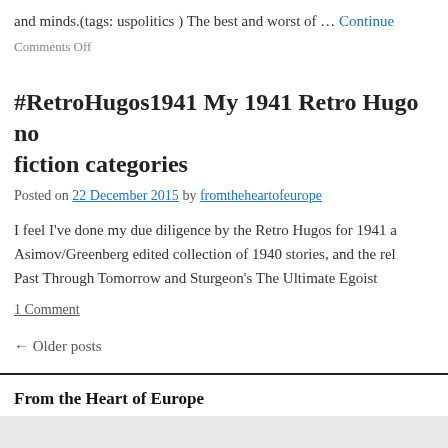and minds.(tags: uspolitics ) The best and worst of … Continue
Comments Off
#RetroHugos1941 My 1941 Retro Hugo nominations in the fiction categories
Posted on 22 December 2015 by fromtheheartofeurope
I feel I've done my due diligence by the Retro Hugos for 1941 and read the Asimov/Greenberg edited collection of 1940 stories, and the relevant volumes of Past Through Tomorrow and Sturgeon's The Ultimate Egoist
1 Comment
← Older posts
From the Heart of Europe